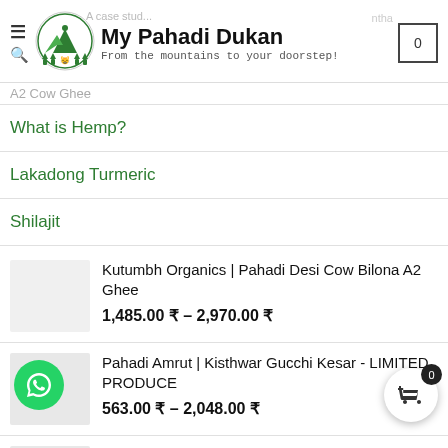My Pahadi Dukan — From the mountains to your doorstep!
A2 Cow Ghee
What is Hemp?
Lakadong Turmeric
Shilajit
Kutumbh Organics | Pahadi Desi Cow Bilona A2 Ghee
1,485.00 ₹ – 2,970.00 ₹
Pahadi Amrut | Kisthwar Gucchi Kesar - LIMITED PRODUCE
563.00 ₹ – 2,048.00 ₹
Forgotten Flavours | Mungodi, Bade, Aloo Chips Seasoning, Raita Seasoning